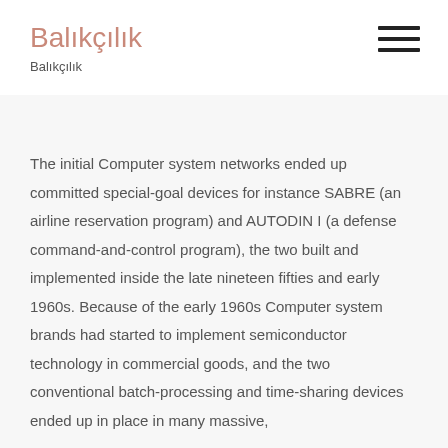Balıkçılık
Balıkçılık
The initial Computer system networks ended up committed special-goal devices for instance SABRE (an airline reservation program) and AUTODIN I (a defense command-and-control program), the two built and implemented inside the late nineteen fifties and early 1960s. Because of the early 1960s Computer system brands had started to implement semiconductor technology in commercial goods, and the two conventional batch-processing and time-sharing devices ended up in place in many massive,